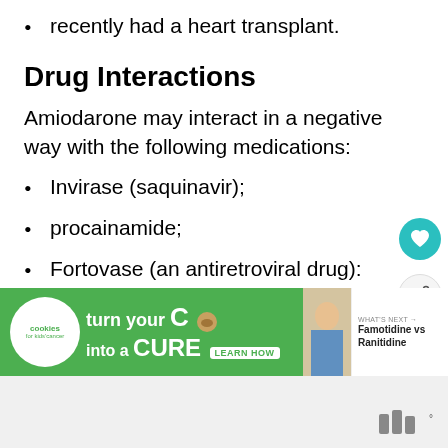recently had a heart transplant.
Drug Interactions
Amiodarone may interact in a negative way with the following medications:
Invirase (saquinavir);
procainamide;
Fortovase (an antiretroviral drug):
[Figure (infographic): Green advertisement banner for 'cookies for kids cancer' charity — 'turn your C[ookie] into a CURE LEARN HOW' with WHAT'S NEXT arrow and 'Famotidine vs Ranitidine' text on right side.]